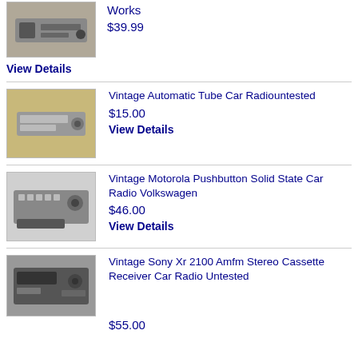[Figure (photo): Vintage car radio, top partial listing]
Works
$39.99
View Details
[Figure (photo): Vintage Automatic Tube Car Radio on wooden surface]
Vintage Automatic Tube Car Radiountested
$15.00
View Details
[Figure (photo): Vintage Motorola Pushbutton car radio]
Vintage Motorola Pushbutton Solid State Car Radio Volkswagen
$46.00
View Details
[Figure (photo): Vintage Sony XR 2100 car radio]
Vintage Sony Xr 2100 Amfm Stereo Cassette Receiver Car Radio Untested
$55.00 (partial)